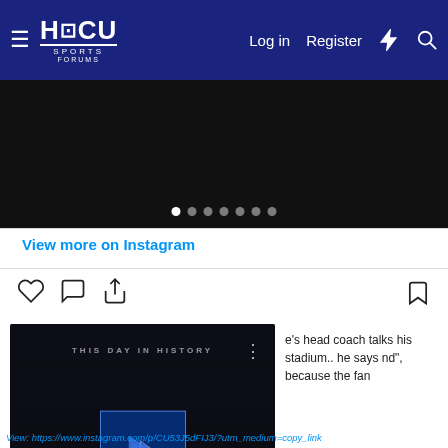HBCU Sports Forums — Log in  Register
[Figure (screenshot): Dark carousel/slideshow area with navigation dots below]
View more on Instagram
[Figure (screenshot): Instagram embed: action icons (heart, comment, share, bookmark), video player showing 'THIS DAY IN HISTORY' with play button and video controls, caption text: 'e's head coach talks his stadium.. he says nd", because the fan']
view all 28 comments
Add a comment...
View: https://www.instagram.com/p/CU53J5dFIJ3/?utm_medium=copy_link